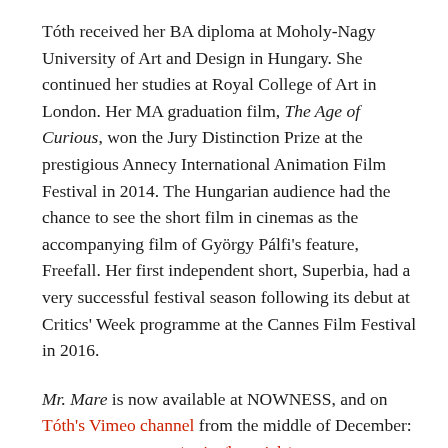Tóth received her BA diploma at Moholy-Nagy University of Art and Design in Hungary. She continued her studies at Royal College of Art in London. Her MA graduation film, The Age of Curious, won the Jury Distinction Prize at the prestigious Annecy International Animation Film Festival in 2014. The Hungarian audience had the chance to see the short film in cinemas as the accompanying film of György Pálfi's feature, Freefall. Her first independent short, Superbia, had a very successful festival season following its debut at Critics' Week programme at the Cannes Film Festival in 2016.
Mr. Mare is now available at NOWNESS, and on Tóth's Vimeo channel from the middle of December: www.nowness.com/series/lovesick/mr-mare-animation-love-luca-toth.